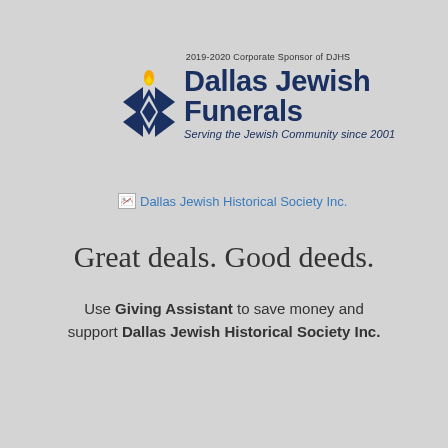[Figure (logo): Dallas Jewish Funerals logo with flame/candle icon and Star of David motif, text '2019-2020 Corporate Sponsor of DJHS' above, 'Dallas Jewish Funerals' as main name, 'Serving the Jewish Community since 2001' as subtitle]
[Figure (other): Broken image placeholder with text 'Dallas Jewish Historical Society Inc.' as alt text, displayed as a linked image that failed to load]
Great deals. Good deeds.
Use Giving Assistant to save money and support Dallas Jewish Historical Society Inc.